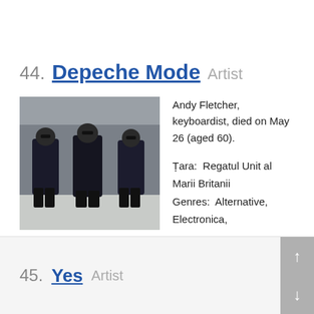44. Depeche Mode  Artist
Andy Fletcher, keyboardist, died on May 26 (aged 60).

Țara:  Regatul Unit al Marii Britanii
Genres:  Alternative, Electronica, Gothic/Darkwave, Industrial, Pop-Rock
Limba:  Engleză
Popular songs:  Enjoy The Silence,  Personal Jesus,  Walking In My Shoes
45. Yes  Artist